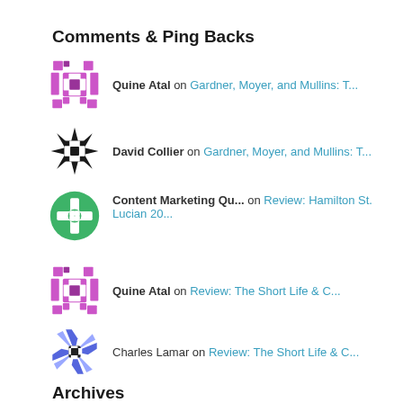Comments & Ping Backs
Quine Atal on Gardner, Moyer, and Mullins: T...
David Collier on Gardner, Moyer, and Mullins: T...
Content Marketing Qu... on Review: Hamilton St. Lucian 20...
Quine Atal on Review: The Short Life & C...
Charles Lamar on Review: The Short Life & C...
Archives
May 2022